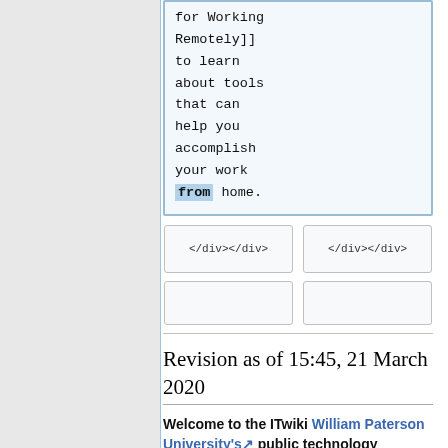for Working Remotely]] to learn about tools that can help you accomplish your work from home.
</div></div>    </div></div>
Revision as of 15:45, 21 March 2020
Welcome to the ITwiki William Paterson University's public technology documentation repository